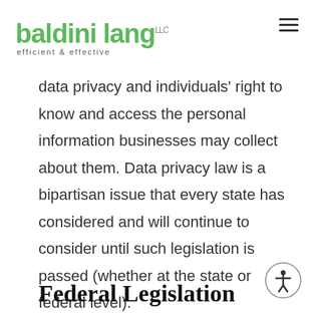baldini lang LLC — efficient & effective
data privacy and individuals' right to know and access the personal information businesses may collect about them. Data privacy law is a bipartisan issue that every state has considered and will continue to consider until such legislation is passed (whether at the state or federal level).
Federal Legislation